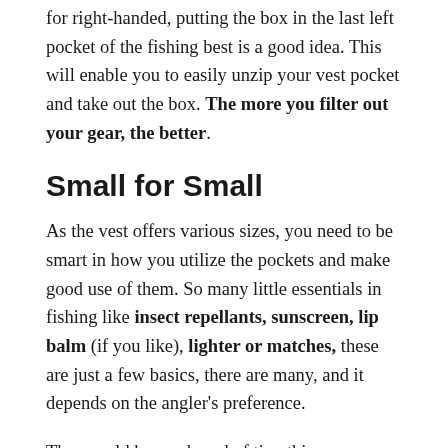for right-handed, putting the box in the last left pocket of the fishing best is a good idea. This will enable you to easily unzip your vest pocket and take out the box. The more you filter out your gear, the better.
Small for Small
As the vest offers various sizes, you need to be smart in how you utilize the pockets and make good use of them. So many little essentials in fishing like insect repellants, sunscreen, lip balm (if you like), lighter or matches, these are just a few basics, there are many, and it depends on the angler's preference.
They could have a hoard of tiny things necessary for their fishing style. Anyway, the point is to carry all